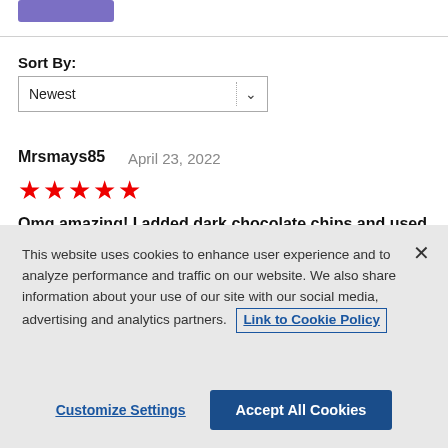[Figure (other): Purple button stub at top of page]
Sort By:
Newest
Mrsmays85   April 23, 2022
★★★★★
Omg amazing! I added dark chocolate chips and used areen apples. My family devoured it!
This website uses cookies to enhance user experience and to analyze performance and traffic on our website. We also share information about your use of our site with our social media, advertising and analytics partners. Link to Cookie Policy
Customize Settings
Accept All Cookies